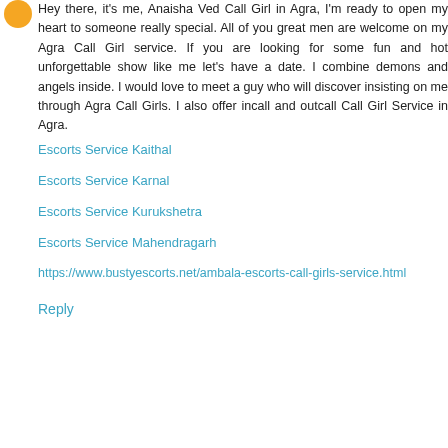[Figure (illustration): Small circular orange avatar icon]
Hey there, it's me, Anaisha Ved Call Girl in Agra, I'm ready to open my heart to someone really special. All of you great men are welcome on my Agra Call Girl service. If you are looking for some fun and hot unforgettable show like me let's have a date. I combine demons and angels inside. I would love to meet a guy who will discover insisting on me through Agra Call Girls. I also offer incall and outcall Call Girl Service in Agra.
Escorts Service Kaithal
Escorts Service Karnal
Escorts Service Kurukshetra
Escorts Service Mahendragarh
https://www.bustyescorts.net/ambala-escorts-call-girls-service.html
Reply